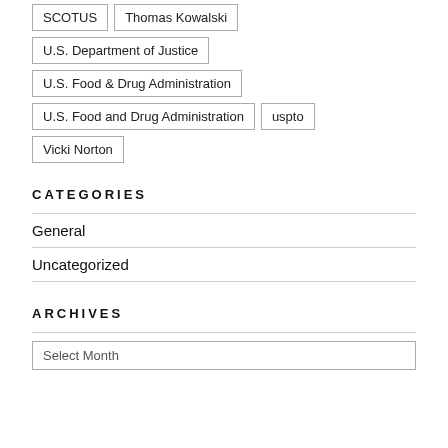SCOTUS
Thomas Kowalski
U.S. Department of Justice
U.S. Food & Drug Administration
U.S. Food and Drug Administration
uspto
Vicki Norton
CATEGORIES
General
Uncategorized
ARCHIVES